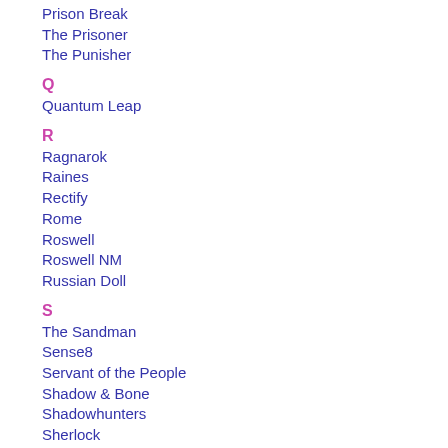Prison Break
The Prisoner
The Punisher
Q
Quantum Leap
R
Ragnarok
Raines
Rectify
Rome
Roswell
Roswell NM
Russian Doll
S
The Sandman
Sense8
Servant of the People
Shadow & Bone
Shadowhunters
Sherlock
Six Feet Under
Sleepy Hollow